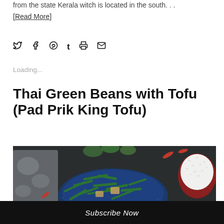from the state Kerala witch is located in the south. . .
[Read More]
[Figure (other): Social share icons row: Twitter, Facebook, Pinterest, Tumblr, Print, Email]
Loading...
Thai Green Beans with Tofu (Pad Prik King Tofu)
[Figure (photo): Overhead photo of Thai green beans with tofu in a blue bowl with red chili peppers, spinach leaves, a gray cloth, and a bowl of white rice on a dark background]
Subscribe Now